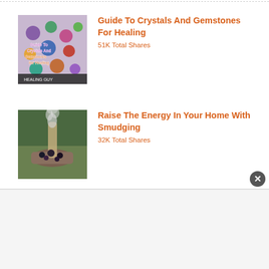[Figure (illustration): Thumbnail image for Guide To Crystals And Gemstones For Healing article - colorful gemstone bracelet with text overlay]
Guide To Crystals And Gemstones For Healing
51K Total Shares
[Figure (photo): Thumbnail image for Raise The Energy In Your Home With Smudging article - smoke from smudge stick in bowl]
Raise The Energy In Your Home With Smudging
32K Total Shares
[Figure (photo): Thumbnail image for What Are You Eating? Find Out With These pH Alkaline Charts article - pH alkaline chart]
What Are You Eating? Find Out With These pH Alkaline Charts
22K Total Shares